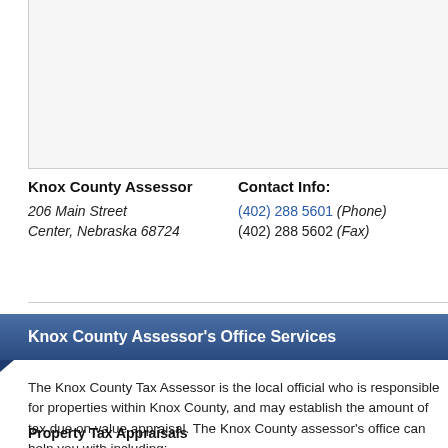[Figure (map): Map placeholder showing Knox County area]
Knox County Assessor
206 Main Street
Center, Nebraska 68724
Contact Info:
(402) 288 5601 (Phone)
(402) 288 5602 (Fax)
Knox County Assessor's Office Services
The Knox County Tax Assessor is the local official who is responsible for properties within Knox County, and may establish the amount of tax due on value appraisal. The Knox County assessor's office can help you with including:
Property Tax Appraisals